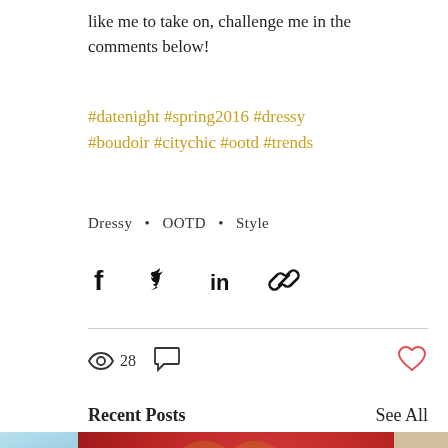like me to take on, challenge me in the comments below!
#datenight #spring2016 #dressy #boudoir #citychic #ootd #trends
Dressy • OOTD • Style
[Figure (infographic): Social sharing icons: Facebook, Twitter, LinkedIn, Link/chain]
28 views, comment icon, heart/like icon
Recent Posts
See All
[Figure (photo): Photo strip showing three images: left partial blue/teal image, center large red-background photo of woman in black dress seated on red velvet chair with ornate gold furniture, right partial collage of smaller photos]